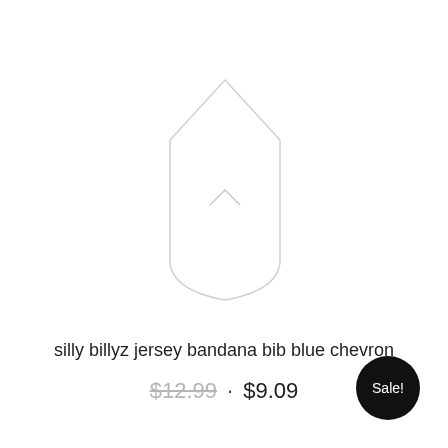[Figure (illustration): Faint outline of a bandana bib item shown as a chevron/diamond shape outline in light gray]
silly billyz jersey bandana bib blue chevron
$12.99 · $9.09
Sale!